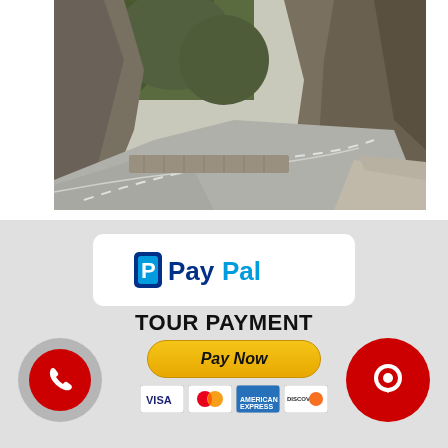[Figure (photo): A winding mountain road curving between rocky cliffs and trees, viewed from the road surface.]
[Figure (logo): PayPal logo inside a white rounded rectangle card]
TOUR PAYMENT
[Figure (infographic): Pay Now button in gold/yellow with payment card icons below (Visa, Mastercard, American Express, Discover)]
[Figure (infographic): Phone call button - red circle with phone icon inside grey ring]
[Figure (infographic): Chat button - red circle with chat bubble icon]